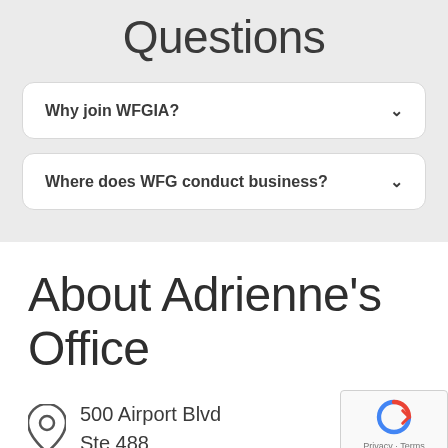Questions
Why join WFGIA?
Where does WFG conduct business?
About Adrienne's Office
500 Airport Blvd
Ste 488